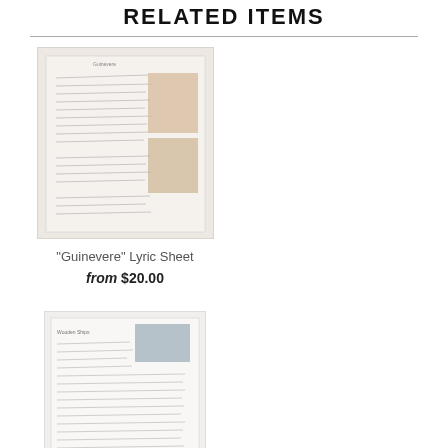RELATED ITEMS
[Figure (photo): Thumbnail image of Guinevere Lyric Sheet - handwritten lyrics with vintage illustrations]
"Guinevere" Lyric Sheet
from $20.00
[Figure (photo): Thumbnail image of Wooden Ships Lyric Sheet - Crosby Graphic with handwritten lyrics and a small photo]
"Wooden Ships" Lyric Sheet - Crosby Graphic
from $20.00
[Figure (photo): Thumbnail image of a third lyric sheet item, partially visible at the bottom of the page]